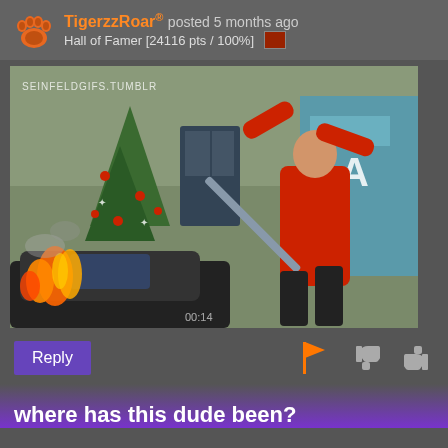TigerzzRoar® posted 5 months ago Hall of Famer [24116 pts / 100%]
[Figure (photo): A bald man in a red jacket swinging a pole/bat near a car that appears to be on fire, with a Christmas tree in the background. Watermark reads SEINFELDGIFS.TUMBLR. Scene from Seinfeld TV show.]
Reply
where has this dude been?